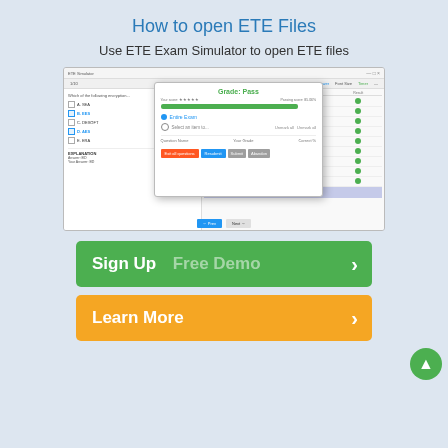How to open ETE Files
Use ETE Exam Simulator to open ETE files
[Figure (screenshot): Screenshot of ETE Exam Simulator showing a quiz interface with a Grade: Pass modal dialog, progress bar, and exam results panel on the right side.]
Sign Up   Free Demo  >
Learn More  >